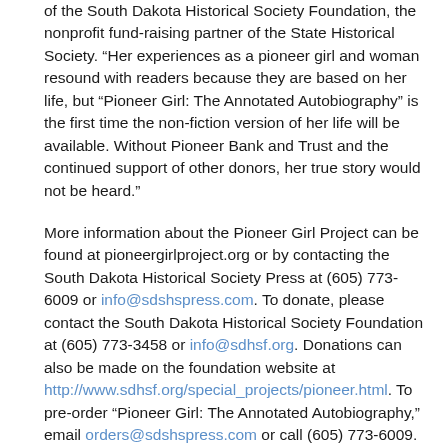of the South Dakota Historical Society Foundation, the nonprofit fund-raising partner of the State Historical Society. “Her experiences as a pioneer girl and woman resound with readers because they are based on her life, but “Pioneer Girl: The Annotated Autobiography” is the first time the non-fiction version of her life will be available. Without Pioneer Bank and Trust and the continued support of other donors, her true story would not be heard.”
More information about the Pioneer Girl Project can be found at pioneergirlproject.org or by contacting the South Dakota Historical Society Press at (605) 773-6009 or info@sdshspress.com. To donate, please contact the South Dakota Historical Society Foundation at (605) 773-3458 or info@sdhsf.org. Donations can also be made on the foundation website at http://www.sdhsf.org/special_projects/pioneer.html. To pre-order “Pioneer Girl: The Annotated Autobiography,” email orders@sdshspress.com or call (605) 773-6009.